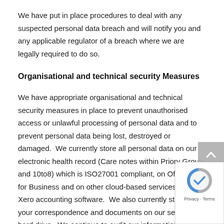We have put in place procedures to deal with any suspected personal data breach and will notify you and any applicable regulator of a breach where we are legally required to do so.
Organisational and technical security Measures
We have appropriate organisational and technical security measures in place to prevent unauthorised access or unlawful processing of personal data and to prevent personal data being lost, destroyed or damaged.  We currently store all personal data on our electronic health record (Care notes within Priory Group and 10to8) which is ISO27001 compliant, on Office 365 for Business and on other cloud-based services such as Xero accounting software.  We also currently store all your correspondence and documents on our secure hard drive.  We continue to audit our information systems to make sure that the